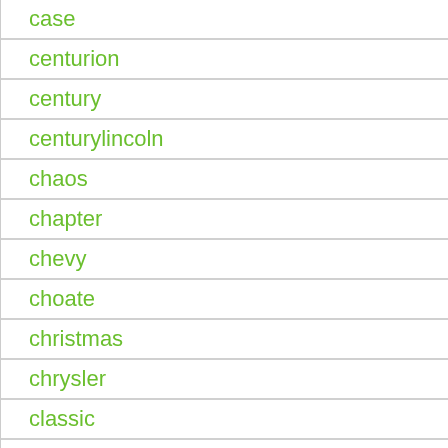case
centurion
century
centurylincoln
chaos
chapter
chevy
choate
christmas
chrysler
classic
claw
cleaning